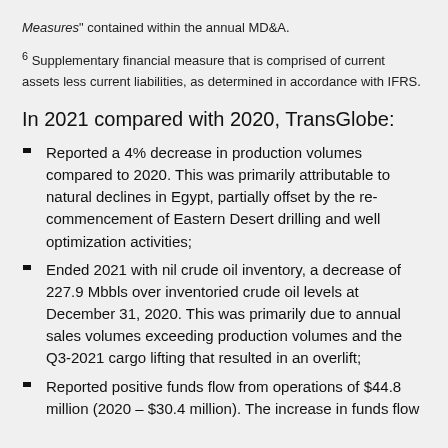Measures" contained within the annual MD&A.
6 Supplementary financial measure that is comprised of current assets less current liabilities, as determined in accordance with IFRS.
In 2021 compared with 2020, TransGlobe:
Reported a 4% decrease in production volumes compared to 2020. This was primarily attributable to natural declines in Egypt, partially offset by the re-commencement of Eastern Desert drilling and well optimization activities;
Ended 2021 with nil crude oil inventory, a decrease of 227.9 Mbbls over inventoried crude oil levels at December 31, 2020. This was primarily due to annual sales volumes exceeding production volumes and the Q3-2021 cargo lifting that resulted in an overlift;
Reported positive funds flow from operations of $44.8 million (2020 – $30.4 million). The increase in funds flow